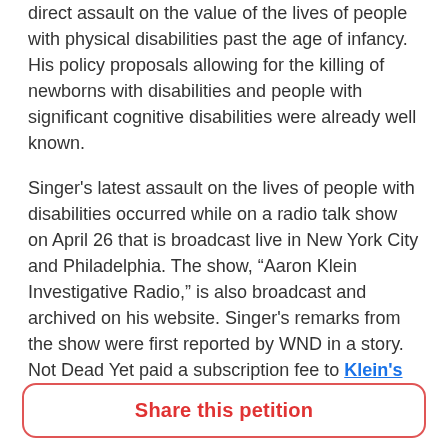direct assault on the value of the lives of people with physical disabilities past the age of infancy. His policy proposals allowing for the killing of newborns with disabilities and people with significant cognitive disabilities were already well known.
Singer's latest assault on the lives of people with disabilities occurred while on a radio talk show on April 26 that is broadcast live in New York City and Philadelphia. The show, “Aaron Klein Investigative Radio,” is also broadcast and archived on his website. Singer's remarks from the show were first reported by WND in a story.  Not Dead Yet paid a subscription fee to Klein's website to access the show and verify the quotes.
Singer was on Klein's show as part of his media
Share this petition